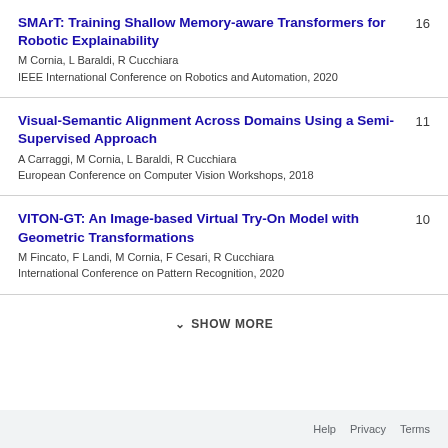SMArT: Training Shallow Memory-aware Transformers for Robotic Explainability
M Cornia, L Baraldi, R Cucchiara
IEEE International Conference on Robotics and Automation, 2020
16
Visual-Semantic Alignment Across Domains Using a Semi-Supervised Approach
A Carraggi, M Cornia, L Baraldi, R Cucchiara
European Conference on Computer Vision Workshops, 2018
11
VITON-GT: An Image-based Virtual Try-On Model with Geometric Transformations
M Fincato, F Landi, M Cornia, F Cesari, R Cucchiara
International Conference on Pattern Recognition, 2020
10
SHOW MORE
Help  Privacy  Terms